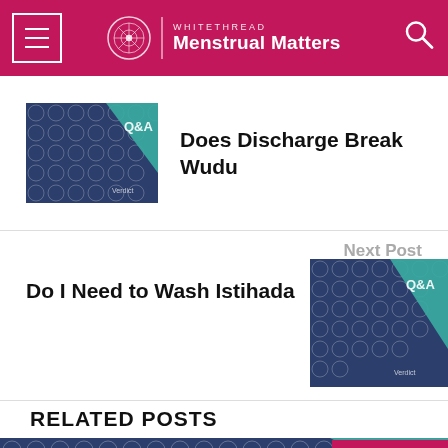WhiteThread Menstrual Matters
Does Discharge Break Wudu
Next Post
Do I Need to Wash Istihada
RELATED POSTS
[Figure (photo): Related posts image strip with dark navy geometric pattern and teal triangular section, with a pink 'TOP' button with upward arrow]